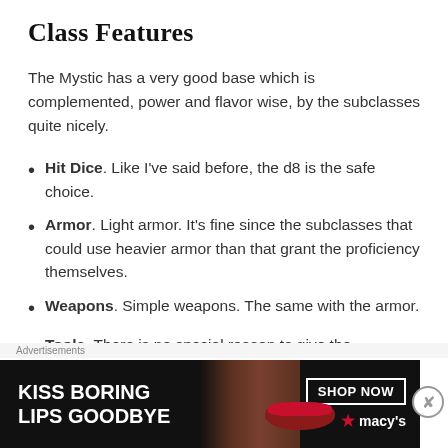Class Features
The Mystic has a very good base which is complemented, power and flavor wise, by the subclasses quite nicely.
Hit Dice. Like I've said before, the d8 is the safe choice.
Armor. Light armor. It's fine since the subclasses that could use heavier armor than that grant the proficiency themselves.
Weapons. Simple weapons. The same with the armor.
Tools. There is no special reason to give the
[Figure (photo): Advertisement banner for Macy's lipstick promotion reading 'Kiss Boring Lips Goodbye' with a close-up photo of a woman's lips and a 'Shop Now' button with the Macy's star logo.]